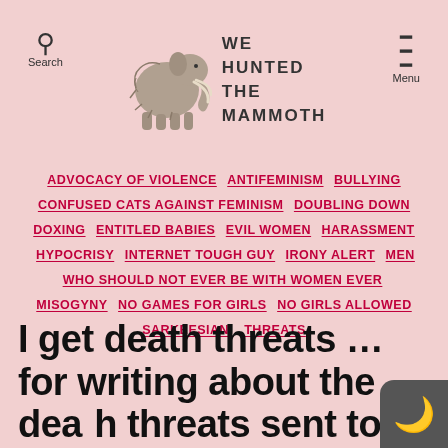WE HUNTED THE MAMMOTH
ADVOCACY OF VIOLENCE  ANTIFEMINISM  BULLYING  CONFUSED CATS AGAINST FEMINISM  DOUBLING DOWN  DOXING  ENTITLED BABIES  EVIL WOMEN  HARASSMENT  HYPOCRISY  INTERNET TOUGH GUY  IRONY ALERT  MEN WHO SHOULD NOT EVER BE WITH WOMEN EVER  MISOGYNY  NO GAMES FOR GIRLS  NO GIRLS ALLOWED  SARKEESIAN!  THREATS
I get death threats … for writing about the death threats sent to Anita Sarkeesian